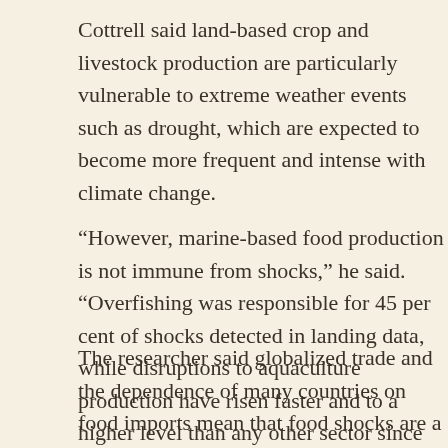Cottrell said land-based crop and livestock production are particularly vulnerable to extreme weather events such as drought, which are expected to become more frequent and intense with climate change.
“However, marine-based food production is not immune from shocks,” he said. “Overfishing was responsible for 45 per cent of shocks detected in landing data, while disruptions to aquaculture production have risen faster and to a higher level than any other sector since the 1980s.”
The researcher said globalized trade and the dependence of many countries on food imports mean that food shocks are a global problem, and that the international community faces a significant challenge to build resilience.